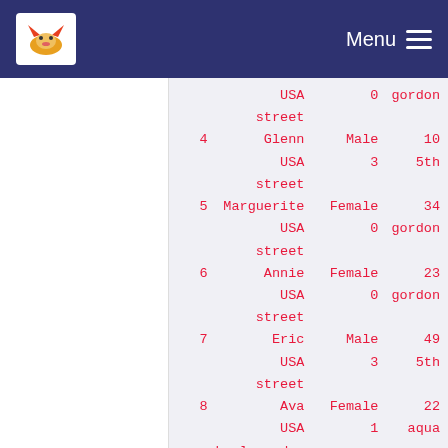Menu
|  | USA | 0 | gordon |
|  | street |  |  |
| 4 | Glenn | Male | 10 |
|  | USA | 3 | 5th |
|  | street |  |  |
| 5 | Marguerite | Female | 34 |
|  | USA | 0 | gordon |
|  | street |  |  |
| 6 | Annie | Female | 23 |
|  | USA | 0 | gordon |
|  | street |  |  |
| 7 | Eric | Male | 49 |
|  | USA | 3 | 5th |
|  | street |  |  |
| 8 | Ava | Female | 22 |
|  | USA | 1 | aqua boulevard |
| City |
| 0 | San Francisco |